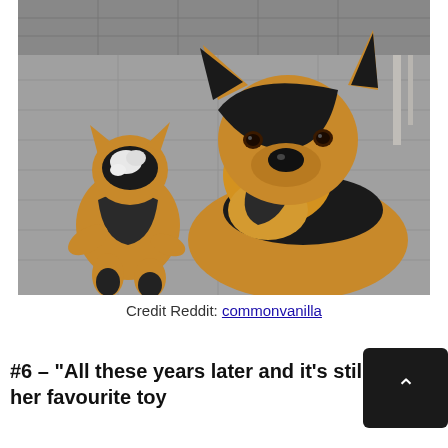[Figure (photo): A German Shepherd dog sitting on a tiled outdoor surface, looking at the camera, next to a small worn stuffed animal toy that resembles a German Shepherd. The toy is visibly well-loved and missing stuffing around the face area.]
Credit Reddit: commonvanilla
#6 – “All these years later and it’s still her favourite toy